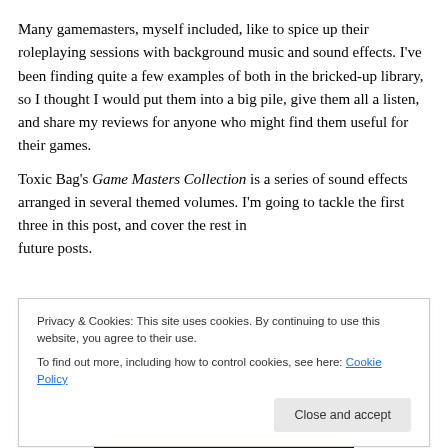Many gamemasters, myself included, like to spice up their roleplaying sessions with background music and sound effects. I've been finding quite a few examples of both in the bricked-up library, so I thought I would put them into a big pile, give them all a listen, and share my reviews for anyone who might find them useful for their games.
Toxic Bag's Game Masters Collection is a series of sound effects arranged in several themed volumes. I'm going to tackle the first three in this post, and cover the rest in future posts.
Privacy & Cookies: This site uses cookies. By continuing to use this website, you agree to their use.
To find out more, including how to control cookies, see here: Cookie Policy
[Figure (photo): Dark background image partially visible at the bottom of the page]